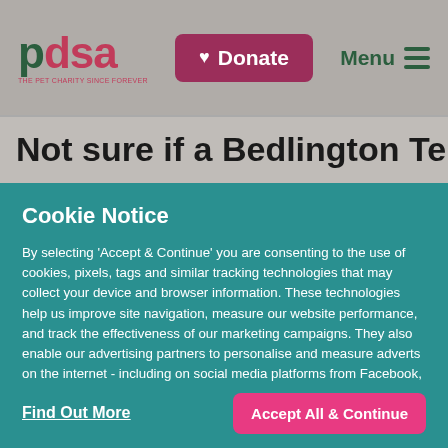[Figure (logo): PDSA logo with red/green lettering and tagline]
Not sure if a Bedlington Terrier is
Cookie Notice
By selecting 'Accept & Continue' you are consenting to the use of cookies, pixels, tags and similar tracking technologies that may collect your device and browser information. These technologies help us improve site navigation, measure our website performance, and track the effectiveness of our marketing campaigns. They also enable our advertising partners to personalise and measure adverts on the internet - including on social media platforms from Facebook, Google and Instagram. Please visit our privacy notice for more information. If you do not agree to our use of cookies, please click 'Find out more' to learn how to disable them.
Find Out More
Accept All & Continue